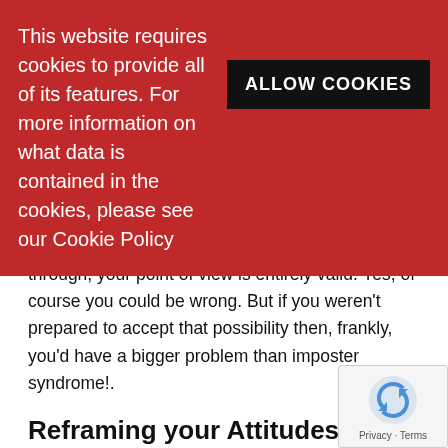This website requires cookies to provide all of its features. For more information on what data is contained in the cookies, please see our Cookie Policy
ALLOW COOKIES
understanding. So, if you've thought something through, your point of view is entirely valid. Yes, of course you could be wrong. But if you weren't prepared to accept that possibility then, frankly, you'd have a bigger problem than imposter syndrome!.
Reframing your Attitudes
Take a Realistic Approach to Perfection
Okay, first of all: nobody truly is perfect. So  the fact that you aren't does not matter at all, in the context of how you fit in among your colleagues.